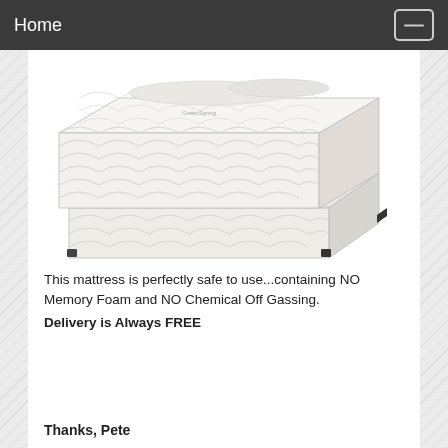Home
[Figure (photo): A white quilted mattress and box spring set photographed at an angle on a white background. The mattress has a scalloped quilted pattern and a small logo label visible on the side. Black corner guards are on the box spring corners.]
This mattress is perfectly safe to use...containing NO Memory Foam and NO Chemical Off Gassing. Delivery is Always FREE
Thanks, Pete